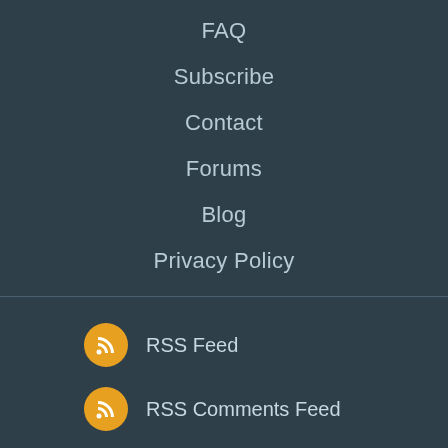FAQ
Subscribe
Contact
Forums
Blog
Privacy Policy
RSS Feed
RSS Comments Feed
Follow us on Facebook
© 2006 - 2022 giveawayoftheday.com.